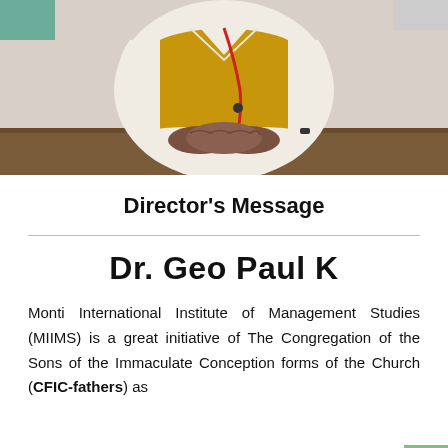[Figure (photo): Photo of Dr. Geo Paul K seated at a desk with hands clasped, wearing a white shirt and golden/mustard waistcoat with a red lanyard]
Director's Message
Dr. Geo Paul K
Monti International Institute of Management Studies (MIIMS) is a great initiative of The Congregation of the Sons of the Immaculate Conception forms of the Church (CFIC-fathers) as